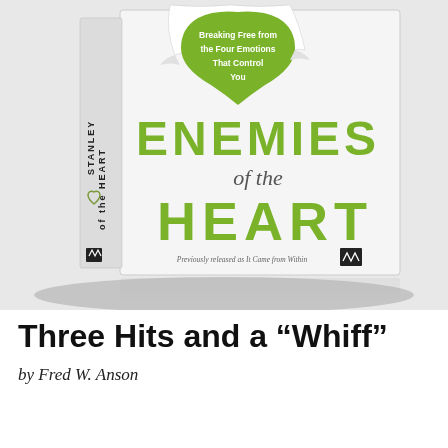[Figure (photo): Book cover of 'Enemies of the Heart' by Andy Stanley. The cover shows a white book with a torn paper effect revealing a green heart shape, with the subtitle 'Breaking Free from the Four Emotions That Control You'. The spine reads 'of the HEART STANLEY'. Large olive-green text reads 'ENEMIES of the HEART'. Below: 'Previously released as It Came from Within'.]
Three Hits and a “Whiff”
by Fred W. Anson